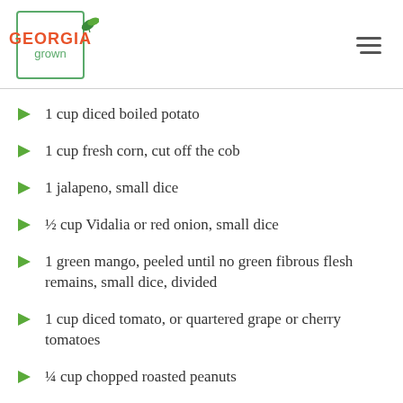Georgia Grown
1 cup diced boiled potato
1 cup fresh corn, cut off the cob
1 jalapeno, small dice
½ cup Vidalia or red onion, small dice
1 green mango, peeled until no green fibrous flesh remains, small dice, divided
1 cup diced tomato, or quartered grape or cherry tomatoes
¼ cup chopped roasted peanuts